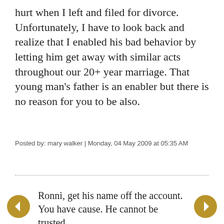hurt when I left and filed for divorce. Unfortunately, I have to look back and realize that I enabled his bad behavior by letting him get away with similar acts throughout our 20+ year marriage. That young man's father is an enabler but there is no reason for you to be also.
Posted by: mary walker | Monday, 04 May 2009 at 05:35 AM
Ronni, get his name off the account. You have cause. He cannot be trusted.